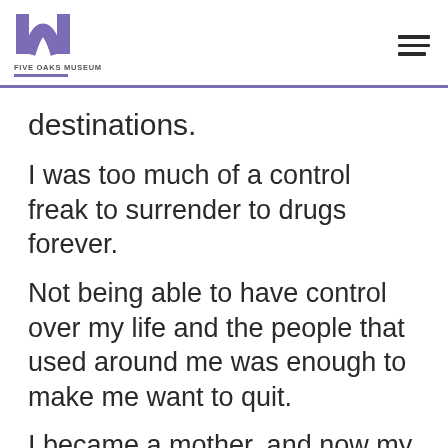FIVE OAKS MUSEUM
destinations.
I was too much of a control freak to surrender to drugs forever.
Not being able to have control over my life and the people that used around me was enough to make me want to quit.
I became a mother, and now my path is set to